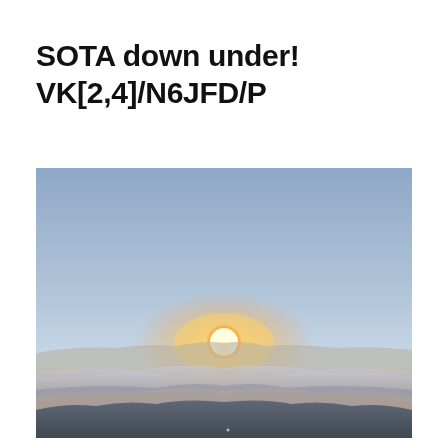SOTA down under! VK[2,4]/N6JFD/P
[Figure (photo): Sunrise or sunset landscape photo taken from a mountaintop above the clouds. A bright sun sits just above the horizon, surrounded by a golden-orange glow, with layers of clouds and distant mountains visible below. The sky above is a gradient from pale blue to orange near the horizon.]